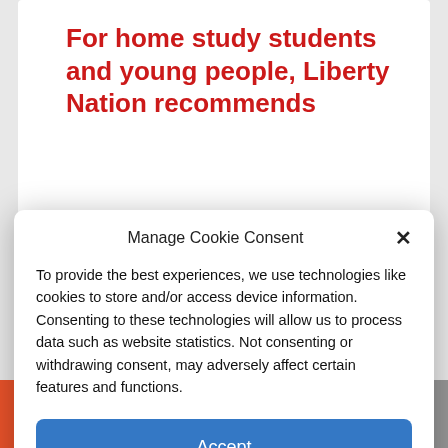For home study students and young people, Liberty Nation recommends
[Figure (screenshot): Partial background photo of landscape with greenery and a government building]
Manage Cookie Consent
To provide the best experiences, we use technologies like cookies to store and/or access device information. Consenting to these technologies will allow us to process data such as website statistics. Not consenting or withdrawing consent, may adversely affect certain features and functions.
Accept
Cookie Policy   Privacy Policy